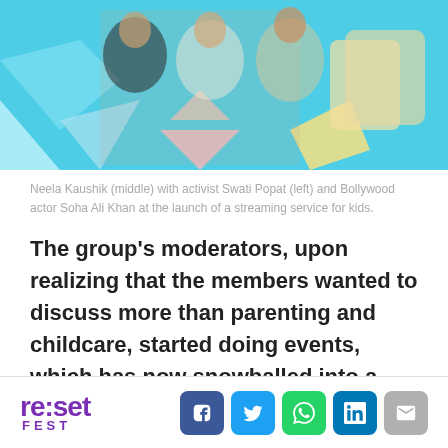[Figure (photo): Photo of Neela Kaushik (middle) with activist Swati Popat (left) and Bollywood actor Soha Ali Khan at the launch of a streaming service for kids. Colorful background with decorative shapes.]
Neela Kaushik (middle) with activist Swati Popat (left) and Bollywood actor Soha Ali Khan at the launch of a streaming service for kids.
The group’s moderators, upon realizing that the members wanted to discuss more than parenting and childcare, started doing events, which has now snowballed into a 10,000 strong mom-community. To maintain quality, the group’s eight moderators go through posts, and keep a
re:set FEST [social icons: Facebook, Twitter, WhatsApp, LinkedIn, Email]